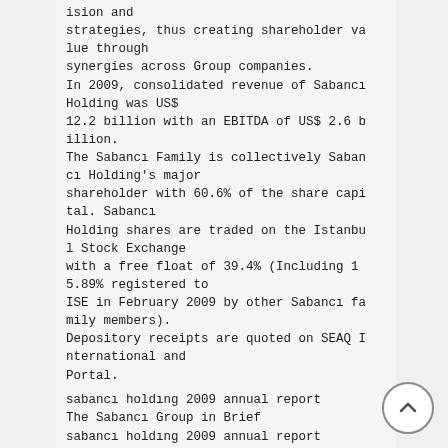ision and strategies, thus creating shareholder value through synergies across Group companies. In 2009, consolidated revenue of Sabancı Holding was US$ 12.2 billion with an EBITDA of US$ 2.6 billion. The Sabancı Family is collectively Sabancı Holding's major shareholder with 60.6% of the share capital. Sabancı Holding shares are traded on the Istanbul Stock Exchange with a free float of 39.4% (Including 15.89% registered to ISE in February 2009 by other Sabancı family members). Depository receipts are quoted on SEAQ International and Portal.
sabancı holdıng 2009 annual report
The Sabancı Group in Brief
sabancı holdıng 2009 annual report